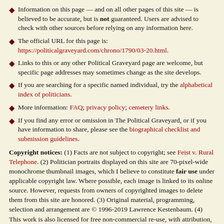Information on this page — and on all other pages of this site — is believed to be accurate, but is not guaranteed. Users are advised to check with other sources before relying on any information here.
The official URL for this page is: https://politicalgraveyard.com/chrono/1790/03-20.html.
Links to this or any other Political Graveyard page are welcome, but specific page addresses may sometimes change as the site develops.
If you are searching for a specific named individual, try the alphabetical index of politicians.
More information: FAQ; privacy policy; cemetery links.
If you find any error or omission in The Political Graveyard, or if you have information to share, please see the biographical checklist and submission guidelines.
Copyright notices: (1) Facts are not subject to copyright; see Feist v. Rural Telephone. (2) Politician portraits displayed on this site are 70-pixel-wide monochrome thumbnail images, which I believe to constitute fair use under applicable copyright law. Where possible, each image is linked to its online source. However, requests from owners of copyrighted images to delete them from this site are honored. (3) Original material, programming, selection and arrangement are © 1996-2019 Lawrence Kestenbaum. (4) This work is also licensed for free non-commercial re-use, with attribution, under a Creative Commons License.
Site information: The Political Graveyard is created and maintained by Lawrence Kestenbaum, who is solely responsible for its structure and content. — The mailing address is The Political Graveyard, P.O. Box 2563, Ann Arbor MI 48106. — This site is hosted by HDL. — The Political Graveyard opened on July 1, 1996; the last full revision was done on May 10,